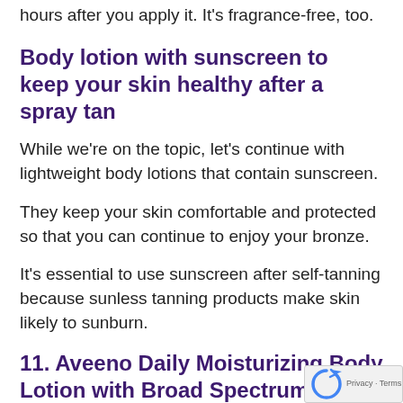hours after you apply it. It's fragrance-free, too.
Body lotion with sunscreen to keep your skin healthy after a spray tan
While we're on the topic, let's continue with lightweight body lotions that contain sunscreen.
They keep your skin comfortable and protected so that you can continue to enjoy your bronze.
It's essential to use sunscreen after self-tanning because sunless tanning products make skin likely to sunburn.
11. Aveeno Daily Moisturizing Body Lotion with Broad Spectrum SPF 15